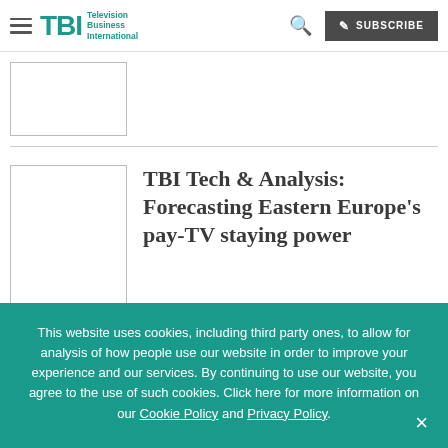TBI Television Business International — navigation bar with subscribe button
[Figure (other): Thumbnail placeholder image (empty white box with border)]
TBI Tech & Analysis: Forecasting Eastern Europe's pay-TV staying power
This website uses cookies, including third party ones, to allow for analysis of how people use our website in order to improve your experience and our services. By continuing to use our website, you agree to the use of such cookies. Click here for more information on our Cookie Policy and Privacy Policy.